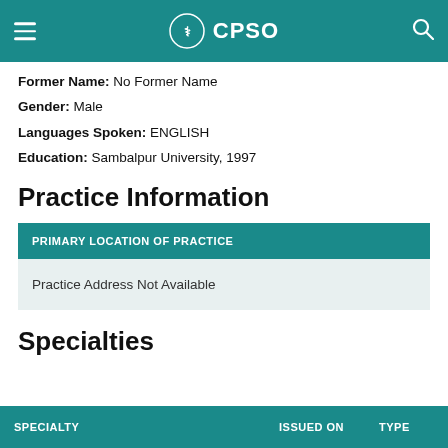CPSO
Former Name: No Former Name
Gender: Male
Languages Spoken: ENGLISH
Education: Sambalpur University, 1997
Practice Information
| PRIMARY LOCATION OF PRACTICE |
| --- |
| Practice Address Not Available |
Specialties
| SPECIALTY | ISSUED ON | TYPE |
| --- | --- | --- |